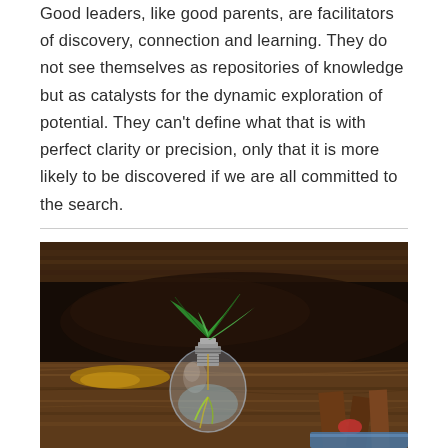Good leaders, like good parents, are facilitators of discovery, connection and learning. They do not see themselves as repositories of knowledge but as catalysts for the dynamic exploration of potential. They can't define what that is with perfect clarity or precision, only that it is more likely to be discovered if we are all committed to the search.
[Figure (photo): A glass light bulb used as a small vase containing water and a green plant/seedling with bright green leaves, placed on rustic weathered wooden planks in a dark, bokeh background.]